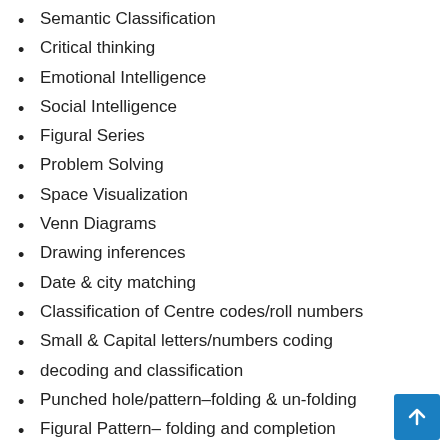Semantic Classification
Critical thinking
Emotional Intelligence
Social Intelligence
Figural Series
Problem Solving
Space Visualization
Venn Diagrams
Drawing inferences
Date & city matching
Classification of Centre codes/roll numbers
Small & Capital letters/numbers coding
decoding and classification
Punched hole/pattern–folding & un-folding
Figural Pattern– folding and completion
Indexing, Address matching
Space Orientation